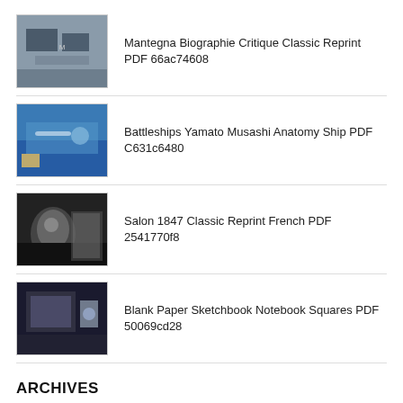Mantegna Biographie Critique Classic Reprint PDF 66ac74608
Battleships Yamato Musashi Anatomy Ship PDF C631c6480
Salon 1847 Classic Reprint French PDF 2541770f8
Blank Paper Sketchbook Notebook Squares PDF 50069cd28
ARCHIVES
August 2022 (47)